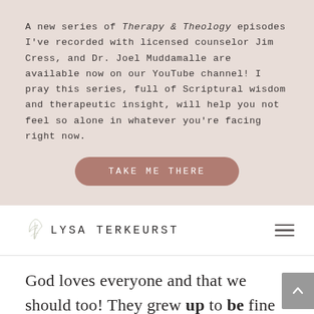A new series of Therapy & Theology episodes I've recorded with licensed counselor Jim Cress, and Dr. Joel Muddamalle are available now on our YouTube channel! I pray this series, full of Scriptural wisdom and therapeutic insight, will help you not feel so alone in whatever you're facing right now.
TAKE ME THERE
LYSA TERKEURST
God loves everyone and that we should too! They grew up to be fine young adults and still share with others! After my youngest died in 2009, on the Holidays what I would give to her I find someone else to spend that